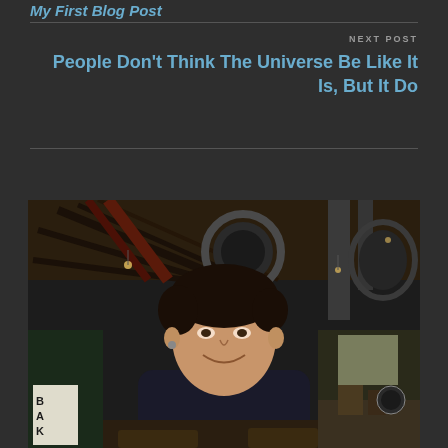My First Blog Post
NEXT POST
People Don't Think The Universe Be Like It Is, But It Do
[Figure (photo): A young man smiling in an industrial-style cafe or restaurant with exposed ductwork, pipes, and wooden ceiling beams. There is a 'BAK' sign visible in the lower left, and cafe seating and counters in the background.]